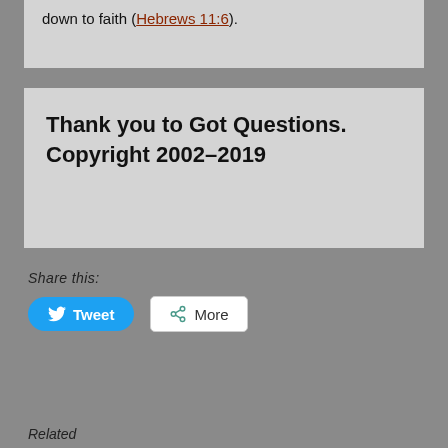down to faith (Hebrews 11:6).
Thank you to Got Questions. Copyright 2002–2019
Share this:
Tweet
More
Related